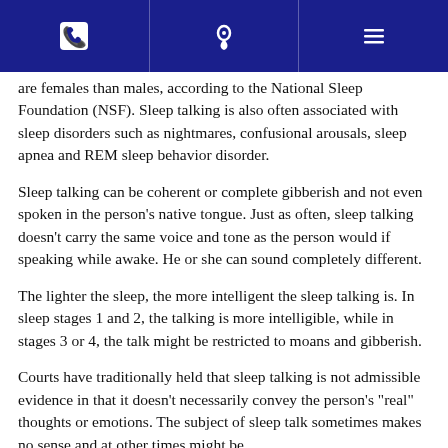[phone icon] [location icon] [menu icon]
...are females than males, according to the National Sleep Foundation (NSF). Sleep talking is also often associated with sleep disorders such as nightmares, confusional arousals, sleep apnea and REM sleep behavior disorder.
Sleep talking can be coherent or complete gibberish and not even spoken in the person’s native tongue. Just as often, sleep talking doesn’t carry the same voice and tone as the person would if speaking while awake. He or she can sound completely different.
The lighter the sleep, the more intelligent the sleep talking is. In sleep stages 1 and 2, the talking is more intelligible, while in stages 3 or 4, the talk might be restricted to moans and gibberish.
Courts have traditionally held that sleep talking is not admissible evidence in that it doesn’t necessarily convey the person’s “real” thoughts or emotions. The subject of sleep talk sometimes makes no sense and at other times might be